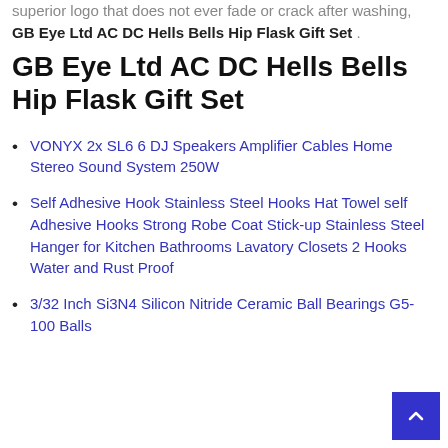superior logo that does not ever fade or crack after washing, GB Eye Ltd AC DC Hells Bells Hip Flask Gift Set .
GB Eye Ltd AC DC Hells Bells Hip Flask Gift Set
VONYX 2x SL6 6 DJ Speakers Amplifier Cables Home Stereo Sound System 250W
Self Adhesive Hook Stainless Steel Hooks Hat Towel self Adhesive Hooks Strong Robe Coat Stick-up Stainless Steel Hanger for Kitchen Bathrooms Lavatory Closets 2 Hooks Water and Rust Proof
3/32 Inch Si3N4 Silicon Nitride Ceramic Ball Bearings G5-100 Balls